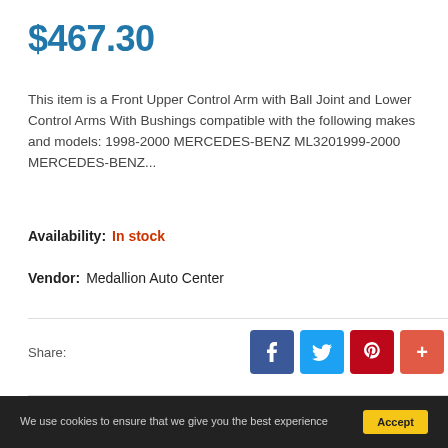$467.30
This item is a Front Upper Control Arm with Ball Joint and Lower Control Arms With Bushings compatible with the following makes and models: 1998-2000 MERCEDES-BENZ ML3201999-2000 MERCEDES-BENZ...
Availability: In stock
Vendor: Medallion Auto Center
Share:
Qty
Add to cart
We use cookies to ensure that we give you the best experience